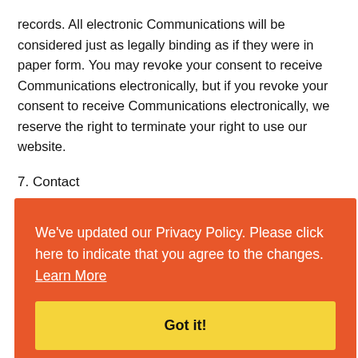records. All electronic Communications will be considered just as legally binding as if they were in paper form. You may revoke your consent to receive Communications electronically, but if you revoke your consent to receive Communications electronically, we reserve the right to terminate your right to use our website.
7. Contact
All feedback, comments, requests for technical support and other communications relating to the Site should be
[Figure (screenshot): Orange cookie consent / privacy policy update banner overlay with text 'We've updated our Privacy Policy. Please click here to indicate that you agree to the changes. Learn More' and a yellow 'Got it!' button.]